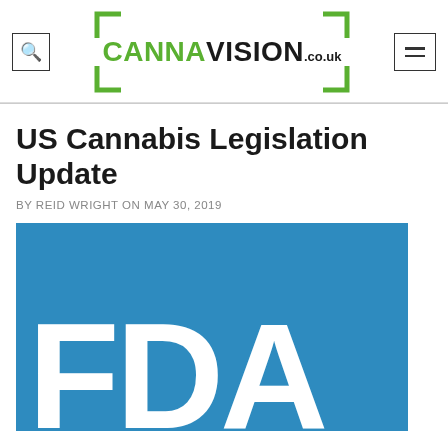CANNAVISION.co.uk
US Cannabis Legislation Update
BY REID WRIGHT ON MAY 30, 2019
[Figure (logo): FDA logo — white letters FDA on a blue background]